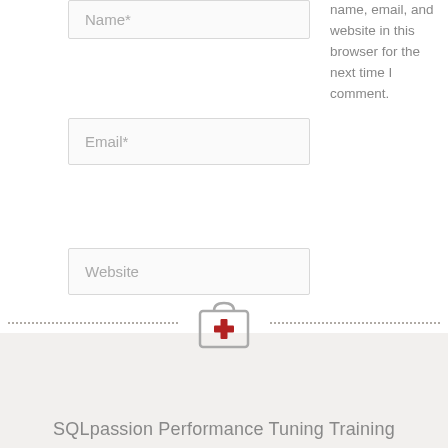Name*
Email*
Website
name, email, and website in this browser for the next time I comment.
Post Comment »
[Figure (illustration): Medical/first-aid kit icon with red cross, surrounded by dotted lines]
SQLpassion Performance Tuning Training